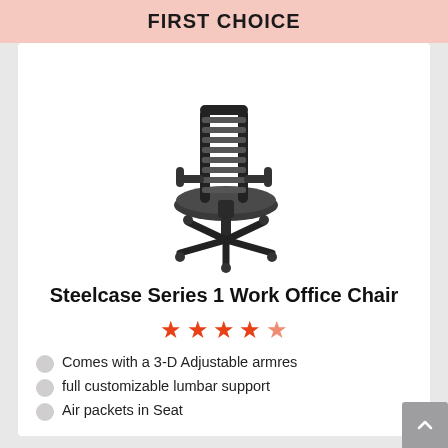FIRST CHOICE
[Figure (photo): Steelcase Series 1 Work Office Chair — black ergonomic office chair with mesh back, adjustable armrests, padded seat, and five-star wheeled base, photographed on white background]
Steelcase Series 1 Work Office Chair
★★★★½ (4.5 stars)
Comes with a 3-D Adjustable armres
full customizable lumbar support
Air packets in Seat